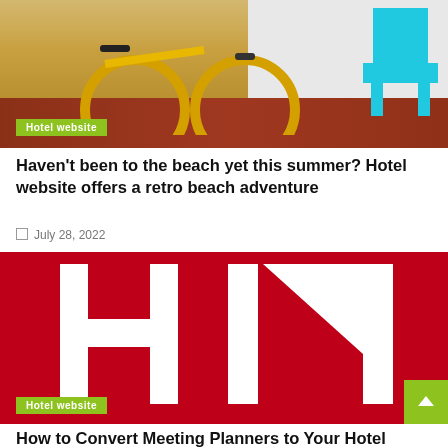[Figure (photo): Photo of a yellow bicycle with a wooden background and a teal/blue Adirondack chair, beach scene. Green 'Hotel website' badge overlay in bottom-left.]
Haven't been to the beach yet this summer? Hotel website offers a retro beach adventure
July 28, 2022
[Figure (logo): Red background with large white 'HN' letters logo. Green 'Hotel website' badge overlay at bottom-left. Yellow-green scroll-to-top arrow button at bottom-right.]
How to Convert Meeting Planners to Your Hotel Website